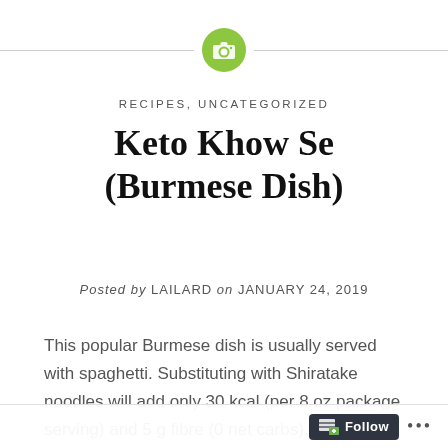[Figure (illustration): Green circular icon with a camera symbol, flanked by horizontal gray lines on both sides]
RECIPES, UNCATEGORIZED
Keto Khow Se (Burmese Dish)
Posted by LAILARD on JANUARY 24, 2019
This popular Burmese dish is usually served with spaghetti. Substituting with Shiratake noodles will add only 30 kcal (per 8 oz package serving) and 5 g fibre (0 net carbs). If you want to use pasta, I'd suggest to use a whole wheat version or rice noodles
[Figure (other): Follow button widget at the bottom of the page]